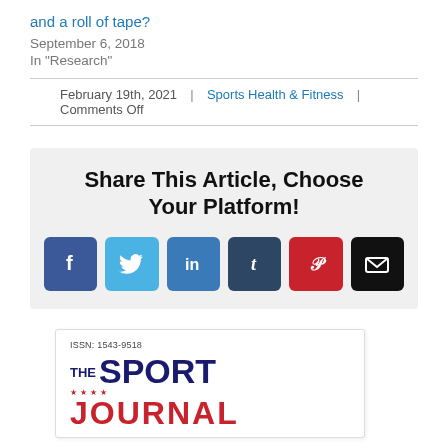and a roll of tape?
September 6, 2018
In "Research"
February 19th, 2021  |  Sports Health & Fitness  |  Comments Off
Share This Article, Choose Your Platform!
[Figure (infographic): Social sharing buttons: Facebook, Twitter, LinkedIn, Tumblr, Pinterest, Email]
[Figure (photo): Preview of The Sport Journal cover showing ISSN: 1543-9518]